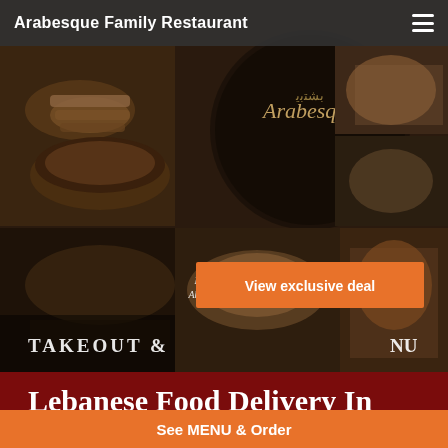Arabesque Family Restaurant
[Figure (photo): Collage of Lebanese/Middle Eastern food dishes including kebabs, salads, rice dishes, and the Arabesque restaurant logo. Overlaid text reads 'Designed By Abdual Chaban' and 'TAKEOUT &'. An orange call-to-action button reads 'View exclusive deal'.]
Lebanese Food Delivery In Petersburg
Looking for Lebanese Food Delivery in Petersburg? Not everybody
See MENU & Order